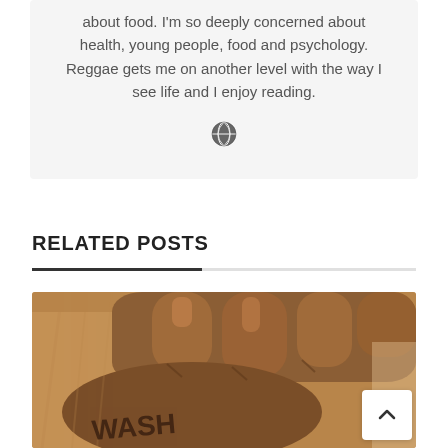about food. I'm so deeply concerned about health, young people, food and psychology. Reggae gets me on another level with the way I see life and I enjoy reading.
[Figure (illustration): Globe/world icon]
RELATED POSTS
[Figure (photo): Close-up photo of a dark-skinned hand with 'WASH' written on the palm, set against a light background with a burlap/cloth texture visible.]